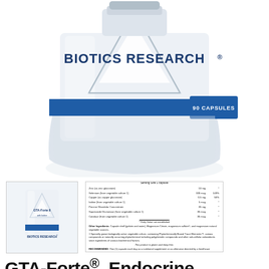[Figure (photo): Large white supplement bottle with triangular Biotics Research logo, blue band with '90 CAPSULES' text, on white background]
[Figure (photo): Thumbnail of GTA-Forte II bottle with Biotics Research branding]
[Figure (photo): Thumbnail of supplement facts label panel]
GTA-Forte®  Endocrine